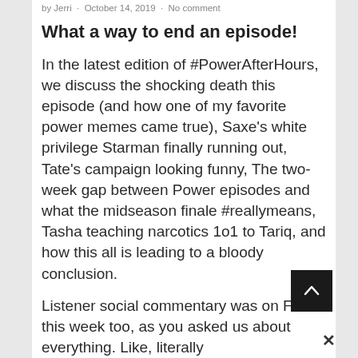by Jerri · October 14, 2019 · No comment
What a way to end an episode!
In the latest edition of #PowerAfterHours, we discuss the shocking death this episode (and how one of my favorite power memes came true), Saxe's white privilege Starman finally running out, Tate's campaign looking funny, The two-week gap between Power episodes and what the midseason finale #reallymeans, Tasha teaching narcotics 1o1 to Tariq, and how this all is leading to a bloody conclusion.
Listener social commentary was on FIRE this week too, as you asked us about everything. Like, literally